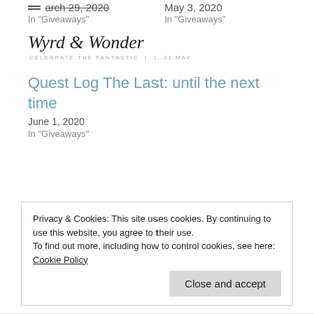March 29, 2020
In "Giveaways"
May 3, 2020
In "Giveaways"
[Figure (logo): Wyrd & Wonder logo with subtitle CELEBRATE THE FANTASTIC | 1-31 MAY]
Quest Log The Last: until the next time
June 1, 2020
In "Giveaways"
Privacy & Cookies: This site uses cookies. By continuing to use this website, you agree to their use.
To find out more, including how to control cookies, see here: Cookie Policy